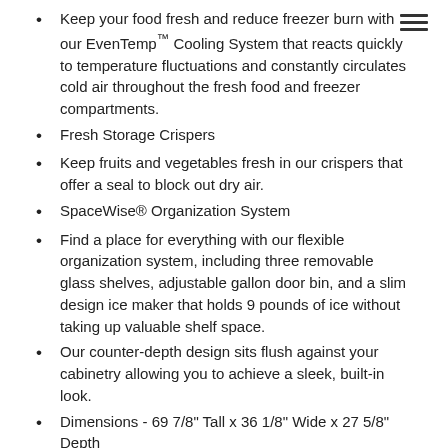Keep your food fresh and reduce freezer burn with our EvenTemp™ Cooling System that reacts quickly to temperature fluctuations and constantly circulates cold air throughout the fresh food and freezer compartments.
Fresh Storage Crispers
Keep fruits and vegetables fresh in our crispers that offer a seal to block out dry air.
SpaceWise® Organization System
Find a place for everything with our flexible organization system, including three removable glass shelves, adjustable gallon door bin, and a slim design ice maker that holds 9 pounds of ice without taking up valuable shelf space.
Our counter-depth design sits flush against your cabinetry allowing you to achieve a sleek, built-in look.
Dimensions - 69 7/8" Tall x 36 1/8" Wide x 27 5/8" Depth